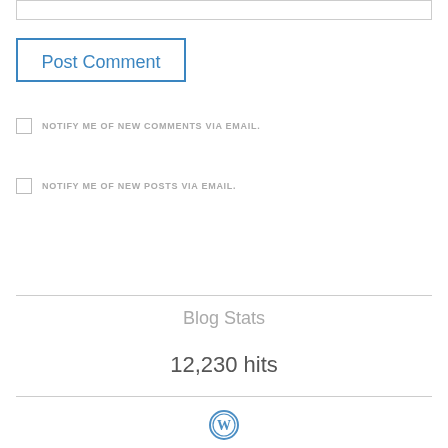[input box]
Post Comment
NOTIFY ME OF NEW COMMENTS VIA EMAIL.
NOTIFY ME OF NEW POSTS VIA EMAIL.
Blog Stats
12,230 hits
[Figure (logo): WordPress circular logo in blue]